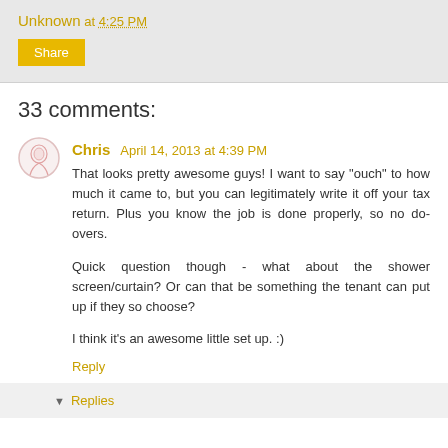Unknown at 4:25 PM
Share
33 comments:
Chris  April 14, 2013 at 4:39 PM
That looks pretty awesome guys! I want to say "ouch" to how much it came to, but you can legitimately write it off your tax return. Plus you know the job is done properly, so no do-overs.

Quick question though - what about the shower screen/curtain? Or can that be something the tenant can put up if they so choose?

I think it's an awesome little set up. :)
Reply
Replies